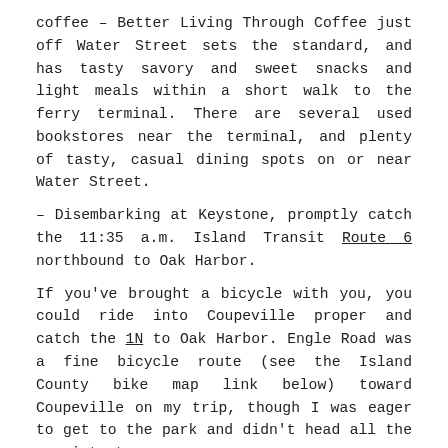coffee – Better Living Through Coffee just off Water Street sets the standard, and has tasty savory and sweet snacks and light meals within a short walk to the ferry terminal. There are several used bookstores near the terminal, and plenty of tasty, casual dining spots on or near Water Street.
– Disembarking at Keystone, promptly catch the 11:35 a.m. Island Transit Route 6 northbound to Oak Harbor.
If you've brought a bicycle with you, you could ride into Coupeville proper and catch the 1N to Oak Harbor. Engle Road was a fine bicycle route (see the Island County bike map link below) toward Coupeville on my trip, though I was eager to get to the park and didn't head all the way into town.
– In Oak Harbor, catch the next 411W heading toward March's Point, getting off at Deception Pass at Seabolts. Or, with bike, plot a route on the Island's backroads. The Island County Bike Map is a good one. You can request a paper copy here. Overall, I found avoiding Highway 20 when possible and avoiding